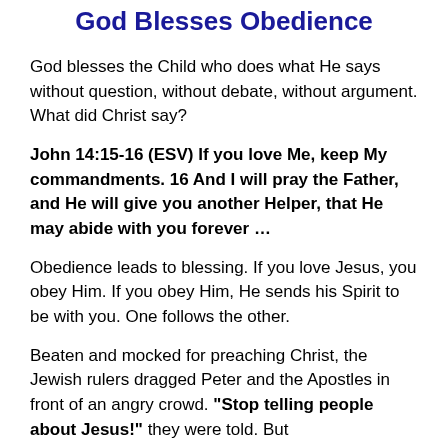God Blesses Obedience
God blesses the Child who does what He says without question, without debate, without argument. What did Christ say?
John 14:15-16 (ESV) If you love Me, keep My commandments. 16 And I will pray the Father, and He will give you another Helper, that He may abide with you forever …
Obedience leads to blessing. If you love Jesus, you obey Him. If you obey Him, He sends his Spirit to be with you. One follows the other.
Beaten and mocked for preaching Christ, the Jewish rulers dragged Peter and the Apostles in front of an angry crowd. "Stop telling people about Jesus!" they were told. But